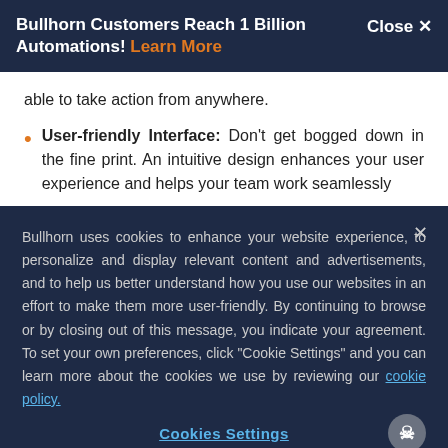Bullhorn Customers Reach 1 Billion Automations! Learn More  Close X
able to take action from anywhere.
User-friendly Interface: Don't get bogged down in the fine print. An intuitive design enhances your user experience and helps your team work seamlessly
Bullhorn uses cookies to enhance your website experience, to personalize and display relevant content and advertisements, and to help us better understand how you use our websites in an effort to make them more user-friendly. By continuing to browse or by closing out of this message, you indicate your agreement. To set your own preferences, click "Cookie Settings" and you can learn more about the cookies we use by reviewing our cookie policy.
Cookies Settings